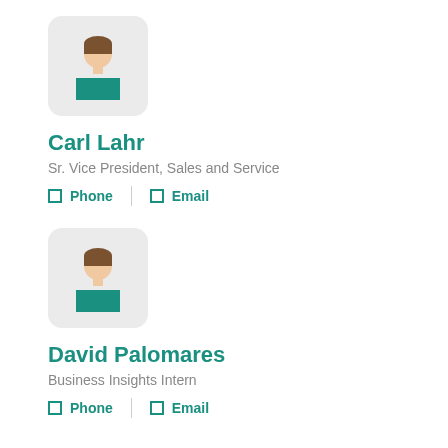[Figure (illustration): Avatar icon of a person with teal shirt and brown hair on a light grey rounded rectangle background]
Carl Lahr
Sr. Vice President, Sales and Service
Phone | Email
[Figure (illustration): Avatar icon of a person with teal shirt and brown hair on a light grey rounded rectangle background]
David Palomares
Business Insights Intern
Phone | Email